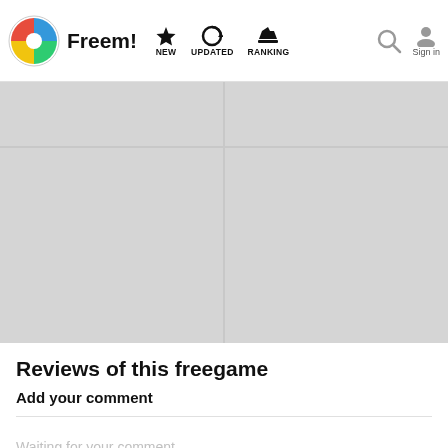Freem! NEW UPDATED RANKING Sign in
[Figure (screenshot): 2x2 grid of grey placeholder image boxes]
Reviews of this freegame
Add your comment
Waiting for your comment...
Reviews have not been posted yet in this game. Why do no